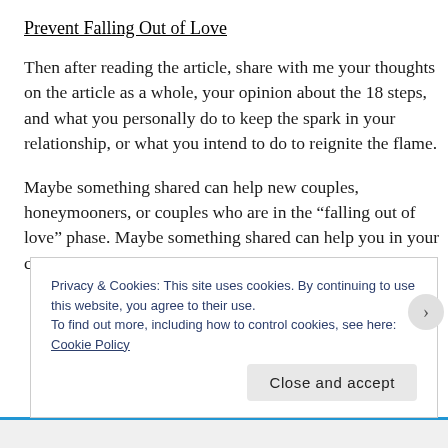Prevent Falling Out of Love
Then after reading the article, share with me your thoughts on the article as a whole, your opinion about the 18 steps, and what you personally do to keep the spark in your relationship, or what you intend to do to reignite the flame.
Maybe something shared can help new couples, honeymooners, or couples who are in the “falling out of love” phase. Maybe something shared can help you in your current relationship, or help you to be mindful in a
Privacy & Cookies: This site uses cookies. By continuing to use this website, you agree to their use.
To find out more, including how to control cookies, see here: Cookie Policy